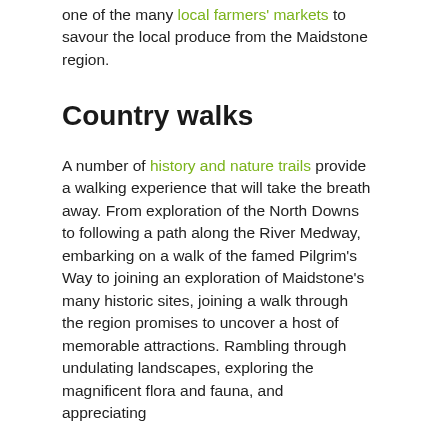one of the many local farmers' markets to savour the local produce from the Maidstone region.
Country walks
A number of history and nature trails provide a walking experience that will take the breath away. From exploration of the North Downs to following a path along the River Medway, embarking on a walk of the famed Pilgrim's Way to joining an exploration of Maidstone's many historic sites, joining a walk through the region promises to uncover a host of memorable attractions. Rambling through undulating landscapes, exploring the magnificent flora and fauna, and appreciating...